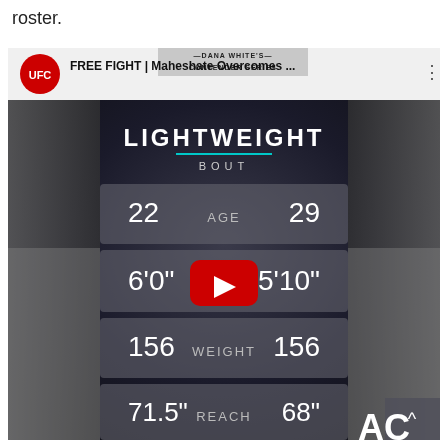roster.
[Figure (screenshot): UFC YouTube video screenshot showing a Lightweight Bout comparison card. Top bar shows UFC logo and video title 'FREE FIGHT | Maheshate Overcomes...'. Center panel shows 'LIGHTWEIGHT BOUT' with fighter stats: AGE 22 vs 29, HEIGHT 6'0" vs 5'10", WEIGHT 156 vs 156, REACH 71.5" vs 68". YouTube play button overlay visible. Two fighters visible on left and right sides.]